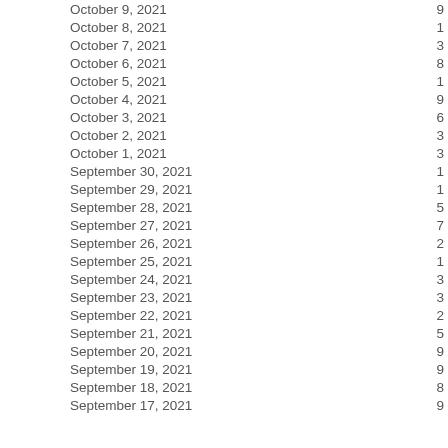| Date | Value |
| --- | --- |
| October 9, 2021 |  |
| October 8, 2021 |  |
| October 7, 2021 |  |
| October 6, 2021 |  |
| October 5, 2021 |  |
| October 4, 2021 |  |
| October 3, 2021 |  |
| October 2, 2021 |  |
| October 1, 2021 |  |
| September 30, 2021 |  |
| September 29, 2021 |  |
| September 28, 2021 |  |
| September 27, 2021 |  |
| September 26, 2021 |  |
| September 25, 2021 |  |
| September 24, 2021 |  |
| September 23, 2021 |  |
| September 22, 2021 |  |
| September 21, 2021 |  |
| September 20, 2021 |  |
| September 19, 2021 |  |
| September 18, 2021 |  |
| September 17, 2021 |  |